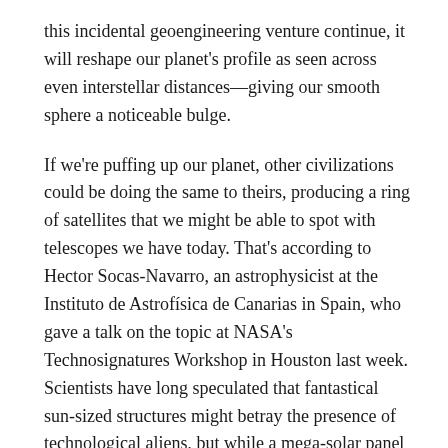this incidental geoengineering venture continue, it will reshape our planet's profile as seen across even interstellar distances—giving our smooth sphere a noticeable bulge.
If we're puffing up our planet, other civilizations could be doing the same to theirs, producing a ring of satellites that we might be able to spot with telescopes we have today. That's according to Hector Socas-Navarro, an astrophysicist at the Instituto de Astrofísica de Canarias in Spain, who gave a talk on the topic at NASA's Technosignatures Workshop in Houston last week. Scientists have long speculated that fantastical sun-sized structures might betray the presence of technological aliens, but while a mega-solar panel blocking a distant star is theoretically easy to spot, such notions remain squarely in the realm of science fiction. Thought experiments like Socas-Navarro's, however, show that now, equipped with better telescopes than their predecessors, researchers are taking